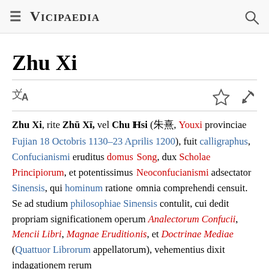≡ VICIPAEDIA 🔍
Zhu Xi
Zhu Xi, rite Zhū Xī, vel Chu Hsi (朱熹, Youxi provinciae Fujian 18 Octobris 1130–23 Aprilis 1200), fuit calligraphus, Confucianismi eruditus domus Song, dux Scholae Principiorum, et potentissimus Neoconfucianismi adsectator Sinensis, qui hominum ratione omnia comprehendi censuit. Se ad studium philosophiae Sinensis contulit, cui dedit propriam significationem operum Analectorum Confucii, Mencii Libri, Magnae Eruditionis, et Doctrinae Mediae (Quattuor Librorum appellatorum), vehementius dixit indagationem rerum